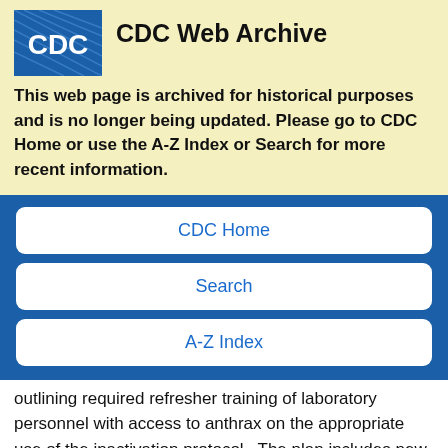[Figure (logo): CDC logo - blue square with white CDC text and globe/lines pattern]
CDC Web Archive
This web page is archived for historical purposes and is no longer being updated. Please go to CDC Home or use the A-Z Index or Search for more recent information.
CDC Home
Search
A-Z Index
outlining required refresher training of laboratory personnel with access to anthrax on the appropriate use of the inactivation protocol.  The plan includes new procedures to document correct use of the protocol as well as new oversight of individuals using